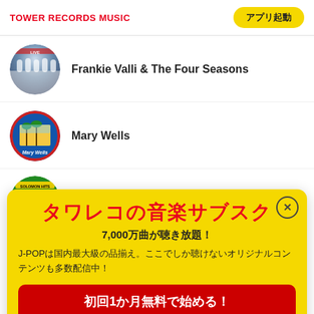TOWER RECORDS MUSIC
アプリ起動
Frankie Valli & The Four Seasons
Mary Wells
Solomon Burke
タワレコの音楽サブスク
7,000万曲が聴き放題！
J-POPは国内最大級の品揃え。ここでしか聴けないオリジナルコンテンツも多数配信中！
初回1か月無料で始める！
タワレコオンラインで使える1,000円クーポン 最大6か月プレゼント